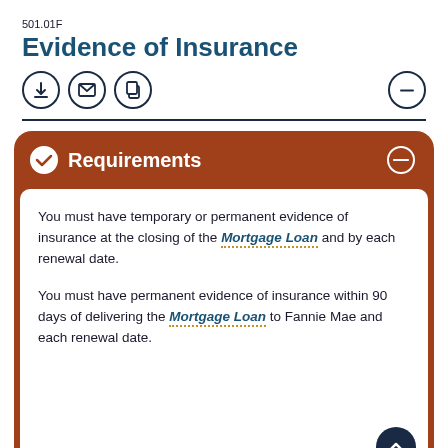501.01F
Evidence of Insurance
[Figure (other): Row of icon buttons: download, email, copy; and a minus/collapse button on the right]
Requirements
You must have temporary or permanent evidence of insurance at the closing of the Mortgage Loan and by each renewal date.
You must have permanent evidence of insurance within 90 days of delivering the Mortgage Loan to Fannie Mae and each renewal date.